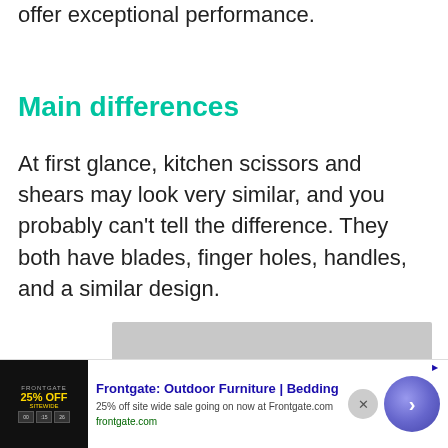offer exceptional performance.
Main differences
At first glance, kitchen scissors and shears may look very similar, and you probably can't tell the difference. They both have blades, finger holes, handles, and a similar design.
[Figure (screenshot): Video player showing 'No compatible source was found for this media' error message on a grey background]
[Figure (screenshot): Advertisement banner for Frontgate: Outdoor Furniture | Bedding. Shows '25% OFF SITEWIDE' with gold text on dark background. Ad title: 'Frontgate: Outdoor Furniture | Bedding'. Description: '25% off site wide sale going on now at Frontgate.com'. URL: frontgate.com. Has a purple circular arrow button on the right.]